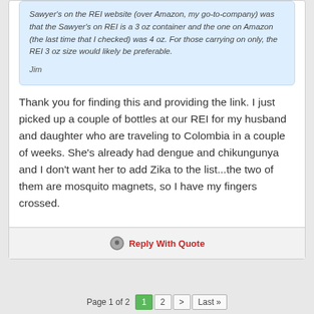Sawyer's on the REI website (over Amazon, my go-to-company) was that the Sawyer's on REI is a 3 oz container and the one on Amazon (the last time that I checked) was 4 oz. For those carrying on only, the REI 3 oz size would likely be preferable.

Jim
Thank you for finding this and providing the link. I just picked up a couple of bottles at our REI for my husband and daughter who are traveling to Colombia in a couple of weeks. She's already had dengue and chikungunya and I don't want her to add Zika to the list...the two of them are mosquito magnets, so I have my fingers crossed.
Reply With Quote
Page 1 of 2   1   2   >   Last >>